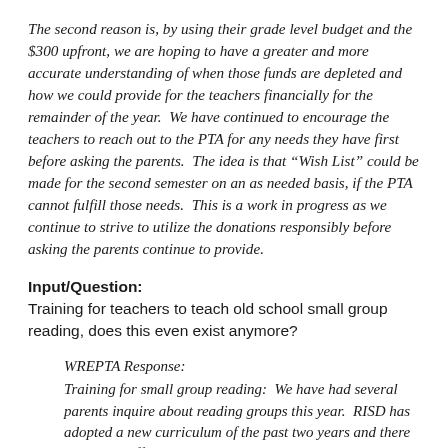The second reason is, by using their grade level budget and the $300 upfront, we are hoping to have a greater and more accurate understanding of when those funds are depleted and how we could provide for the teachers financially for the remainder of the year.  We have continued to encourage the teachers to reach out to the PTA for any needs they have first before asking the parents.  The idea is that “Wish List” could be made for the second semester on an as needed basis, if the PTA cannot fulfill those needs. This is a work in progress as we continue to strive to utilize the donations responsibly before asking the parents continue to provide.
Input/Question:
Training for teachers to teach old school small group reading, does this even exist anymore?
WREPTA Response:
Training for small group reading:  We have had several parents inquire about reading groups this year.  RISD has adopted a new curriculum of the past two years and there are many differences our parents are noticing... reading